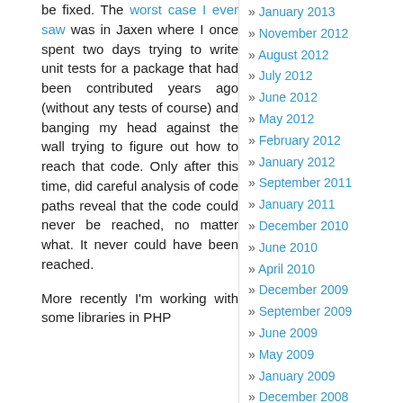be fixed. The worst case I ever saw was in Jaxen where I once spent two days trying to write unit tests for a package that had been contributed years ago (without any tests of course) and banging my head against the wall trying to figure out how to reach that code. Only after this time, did careful analysis of code paths reveal that the code could never be reached, no matter what. It never could have been reached.
More recently I'm working with some libraries in PHP
January 2013
November 2012
August 2012
July 2012
June 2012
May 2012
February 2012
January 2012
September 2011
January 2011
December 2010
June 2010
April 2010
December 2009
September 2009
June 2009
May 2009
January 2009
December 2008
November 2008
August 2008